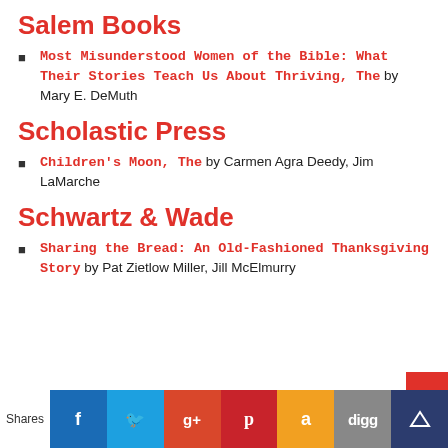Salem Books
Most Misunderstood Women of the Bible: What Their Stories Teach Us About Thriving, The by Mary E. DeMuth
Scholastic Press
Children's Moon, The by Carmen Agra Deedy, Jim LaMarche
Schwartz & Wade
Sharing the Bread: An Old-Fashioned Thanksgiving Story by Pat Zietlow Miller, Jill McElmurry
Shares | Facebook | Twitter | Google+ | Pinterest | Amazon | digg | Crown